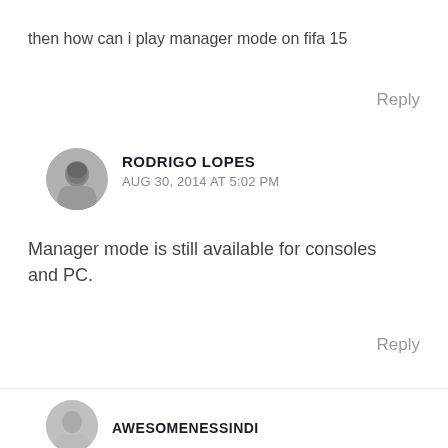then how can i play manager mode on fifa 15
Reply
RODRIGO LOPES
AUG 30, 2014 AT 5:02 PM
Manager mode is still available for consoles and PC.
Reply
[Figure (photo): Grayscale avatar photo of Rodrigo Lopes]
AWESOMENESSINDI